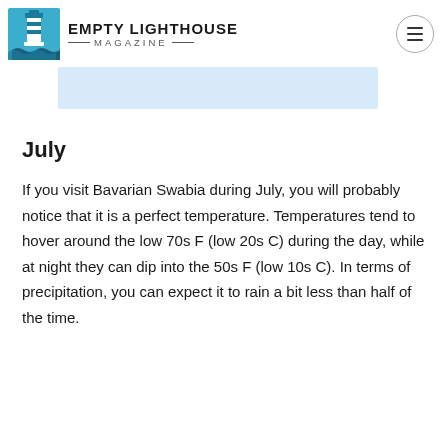EMPTY LIGHTHOUSE MAGAZINE
[Figure (other): Light blue rectangular advertisement banner]
July
If you visit Bavarian Swabia during July, you will probably notice that it is a perfect temperature. Temperatures tend to hover around the low 70s F (low 20s C) during the day, while at night they can dip into the 50s F (low 10s C). In terms of precipitation, you can expect it to rain a bit less than half of the time.